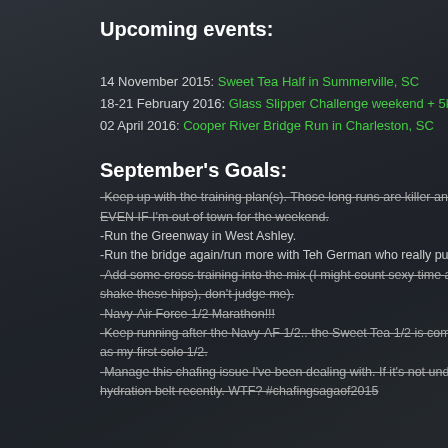Upcoming events:
14 November 2015: Sweet Tea Half in Summerville, SC
18-21 February 2016: Glass Slipper Challenge weekend + 5k in Orl
02 April 2016: Cooper River Bridge Run in Charleston, SC
September's Goals:
-Keep up with the training plan(s). Those long runs are killer and fa EVEN IF I'm out of town for the weekend. [strikethrough]
-Run the Greenway in West Ashley.
-Run the bridge again/run more with Teh German who really pushes
-Add some cross training into the mix (I might count sexy time and shake these hips), don't judge me). [strikethrough]
-Navy-Air Force 1/2 Marathon!!! [strikethrough]
-Keep running after the Navy-AF 1/2.. the Sweet Tea 1/2 is coming as my first solo 1/2. [strikethrough]
-Manage this chafing issue I've been dealing with. If it's not underb hydration belt recently. WTF? #chafingsagaof2015 [strikethrough]